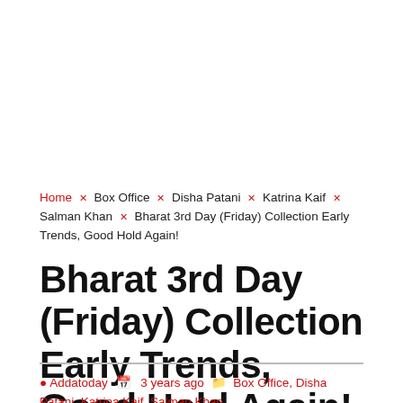Home × Box Office × Disha Patani × Katrina Kaif × Salman Khan × Bharat 3rd Day (Friday) Collection Early Trends, Good Hold Again!
Bharat 3rd Day (Friday) Collection Early Trends, Good Hold Again!
Addatoday   3 years ago   Box Office, Disha Patani, Katrina Kaif, Salman Khan,